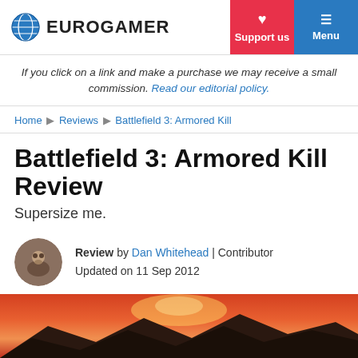EUROGAMER | Support us | Menu
If you click on a link and make a purchase we may receive a small commission. Read our editorial policy.
Home ▶ Reviews ▶ Battlefield 3: Armored Kill
Battlefield 3: Armored Kill Review
Supersize me.
Review by Dan Whitehead | Contributor
Updated on 11 Sep 2012
[Figure (photo): Sunset landscape with orange and red sky over dark mountains, hero image for Battlefield 3: Armored Kill review]